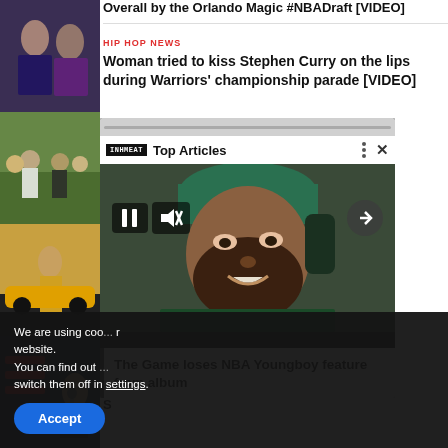[Figure (photo): Left column with four thumbnail images: people in formal wear, crowd at outdoor event, person in yellow near sports car, basketball press conference]
Overall by the Orlando Magic #NBADraft [VIDEO]
HIP HOP NEWS
Woman tried to kiss Stephen Curry on the lips during Warriors' championship parade [VIDEO]
[Figure (screenshot): Video player overlay showing Top Articles with a close-up photo of a bearded man wearing a green cap, with playback controls (pause, mute, arrow) and caption 'The Game loses NBA Youngboy feature from album']
The Game loses NBA Youngboy feature from album
We are using coo... website.
You can find out ...
switch them off in settings.
Accept